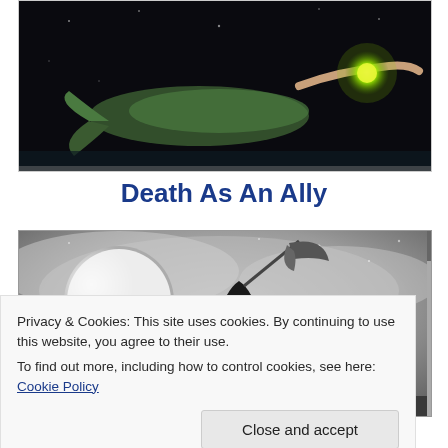[Figure (illustration): Dark fantasy illustration of a mermaid or figure with fish tail swimming underwater, holding a glowing green orb, on a dark background.]
Death As An Ally
[Figure (illustration): Black and white illustration of a grim reaper figure holding a scythe, standing before a large full moon with a misty, starry night sky and silhouetted trees in the background.]
Privacy & Cookies: This site uses cookies. By continuing to use this website, you agree to their use.
To find out more, including how to control cookies, see here: Cookie Policy